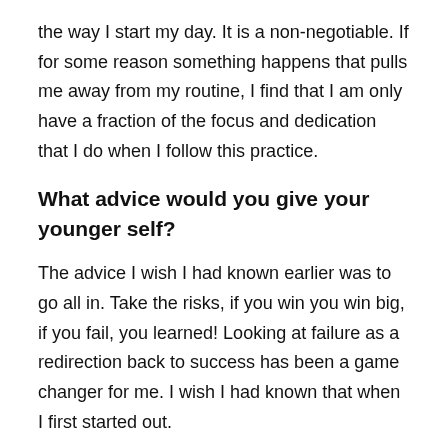the way I start my day. It is a non-negotiable. If for some reason something happens that pulls me away from my routine, I find that I am only have a fraction of the focus and dedication that I do when I follow this practice.
What advice would you give your younger self?
The advice I wish I had known earlier was to go all in. Take the risks, if you win you win big, if you fail, you learned! Looking at failure as a redirection back to success has been a game changer for me. I wish I had known that when I first started out.